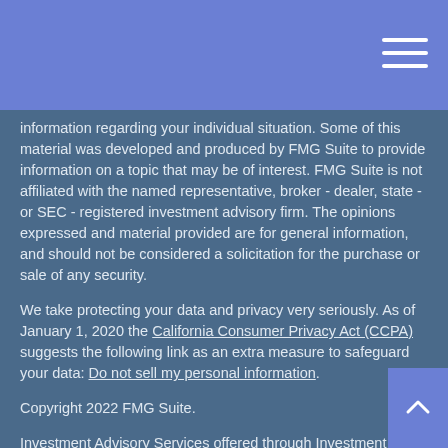[Navigation header with hamburger menu]
information regarding your individual situation. Some of this material was developed and produced by FMG Suite to provide information on a topic that may be of interest. FMG Suite is not affiliated with the named representative, broker - dealer, state - or SEC - registered investment advisory firm. The opinions expressed and material provided are for general information, and should not be considered a solicitation for the purchase or sale of any security.
We take protecting your data and privacy very seriously. As of January 1, 2020 the California Consumer Privacy Act (CCPA) suggests the following link as an extra measure to safeguard your data: Do not sell my personal information.
Copyright 2022 FMG Suite.
Investment Advisory Services offered through Investment Advisor Representatives of Cambridge Investment Research Advisors, Inc., a Registered Investment Adviser. Securities offered through Registered Representatives of Cambridge Investment Research, Inc., a broker/dealer,